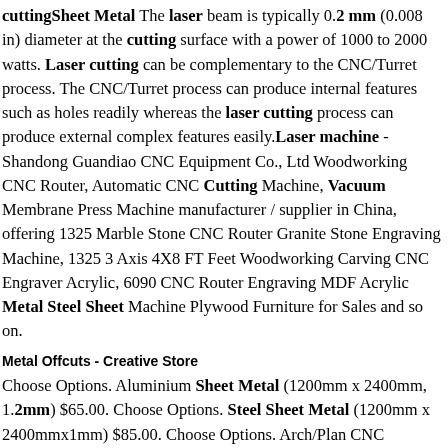cuttingSheet Metal The laser beam is typically 0.2 mm (0.008 in) diameter at the cutting surface with a power of 1000 to 2000 watts. Laser cutting can be complementary to the CNC/Turret process. The CNC/Turret process can produce internal features such as holes readily whereas the laser cutting process can produce external complex features easily.Laser machine - Shandong Guandiao CNC Equipment Co., Ltd Woodworking CNC Router, Automatic CNC Cutting Machine, Vacuum Membrane Press Machine manufacturer / supplier in China, offering 1325 Marble Stone CNC Router Granite Stone Engraving Machine, 1325 3 Axis 4X8 FT Feet Woodworking Carving CNC Engraver Acrylic, 6090 CNC Router Engraving MDF Acrylic Metal Steel Sheet Machine Plywood Furniture for Sales and so on.
Metal Offcuts - Creative Store
Choose Options. Aluminium Sheet Metal (1200mm x 2400mm, 1.2mm) $65.00. Choose Options. Steel Sheet Metal (1200mm x 2400mmx1mm) $85.00. Choose Options. Arch/Plan CNC Machining